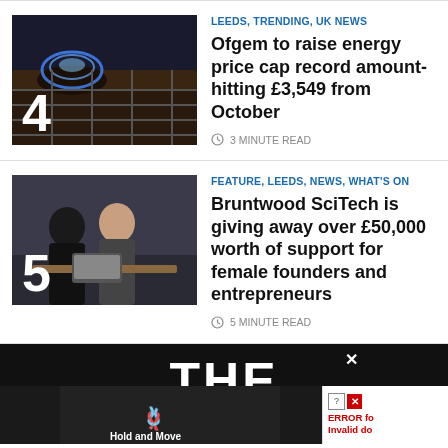[Figure (photo): Gas hob burner with blue flames, numbered 4]
LEEDS, TRENDING, UK NEWS
Ofgem to raise energy price cap record amount- hitting £3,549 from October
3 MINUTE READ
[Figure (photo): Two women sitting at a table, numbered 5]
FEATURE, LEEDS, NEWS, WHAT'S ON
Bruntwood SciTech is giving away over £50,000 worth of support for female founders and entrepreneurs
5 MINUTE READ
[Figure (screenshot): Dark footer with THE logo and an advertisement overlay showing Hold and Move, and an error panel reading ERROR for Invalid do...]